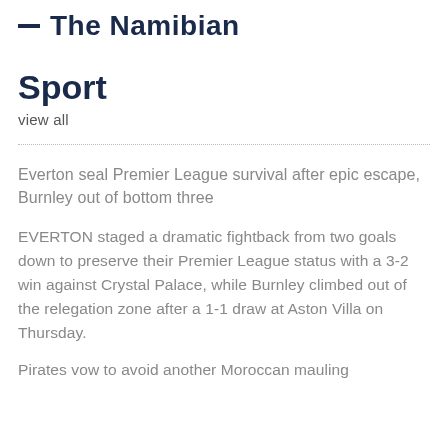The Namibian
Sport
view all
Everton seal Premier League survival after epic escape, Burnley out of bottom three
EVERTON staged a dramatic fightback from two goals down to preserve their Premier League status with a 3-2 win against Crystal Palace, while Burnley climbed out of the relegation zone after a 1-1 draw at Aston Villa on Thursday.
Pirates vow to avoid another Moroccan mauling